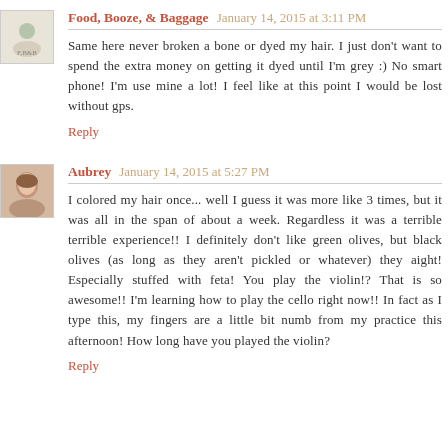Food, Booze, & Baggage January 14, 2015 at 3:11 PM
Same here never broken a bone or dyed my hair. I just don't want to spend the extra money on getting it dyed until I'm grey :) No smart phone! I'm use mine a lot! I feel like at this point I would be lost without gps.
Reply
Aubrey January 14, 2015 at 5:27 PM
I colored my hair once... well I guess it was more like 3 times, but it was all in the span of about a week. Regardless it was a terrible terrible experience!! I definitely don't like green olives, but black olives (as long as they aren't pickled or whatever) they aight! Especially stuffed with feta! You play the violin!? That is so awesome!! I'm learning how to play the cello right now!! In fact as I type this, my fingers are a little bit numb from my practice this afternoon! How long have you played the violin?
Reply